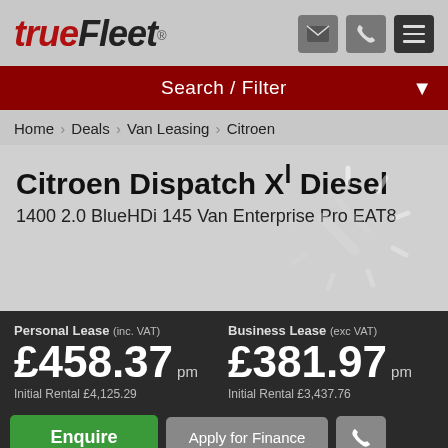trueFleet®
Search / Filter
Home › Deals › Van Leasing › Citroen
Citroen Dispatch Xl Diesel
1400 2.0 BlueHDi 145 Van Enterprise Pro EAT8
Personal Lease (inc. VAT) £458.37 pm Initial Rental £4,125.29
Business Lease (exc VAT) £381.97 pm Initial Rental £3,437.76
Enquire
Apply for Finance